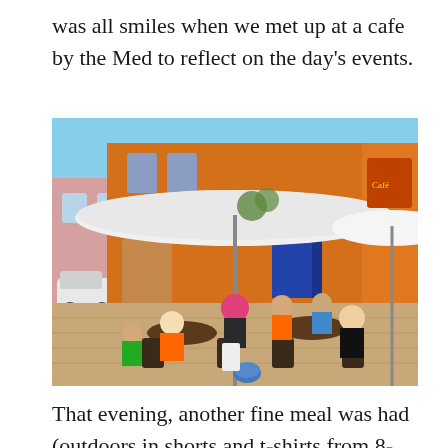was all smiles when we met up at a cafe by the Med to reflect on the day's events.
[Figure (photo): Group of cyclists sitting at outdoor cafe tables under large white parasol umbrellas in front of an orange/red building. People are wearing cycling gear including orange jerseys. One person has a pink helmet, a blue helmet is on the ground. The setting appears to be a Mediterranean seaside cafe.]
That evening, another fine meal was had (outdoors in shorts and t-shirts from 8-10pm) at a